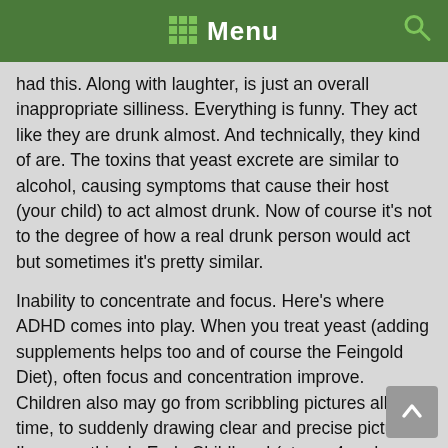Menu
had this. Along with laughter, is just an overall inappropriate silliness. Everything is funny. They act like they are drunk almost. And technically, they kind of are. The toxins that yeast excrete are similar to alcohol, causing symptoms that cause their host (your child) to act almost drunk. Now of course it's not to the degree of how a real drunk person would act but sometimes it's pretty similar.
Inability to concentrate and focus. Here's where ADHD comes into play. When you treat yeast (adding supplements helps too and of course the Feingold Diet), often focus and concentration improve. Children also may go from scribbling pictures all the time, to suddenly drawing clear and precise pictures. I've seen this. In Early Childhood (at age 4 and a half), my daughter had a weekend journal where they were supposed to draw a picture of what they did that weekend. Every week, she just scribbled. Never once did she draw a picture. After starting the GFCF diet and biomed and treating for yeast, she drew a picture, and it was good! She drew a